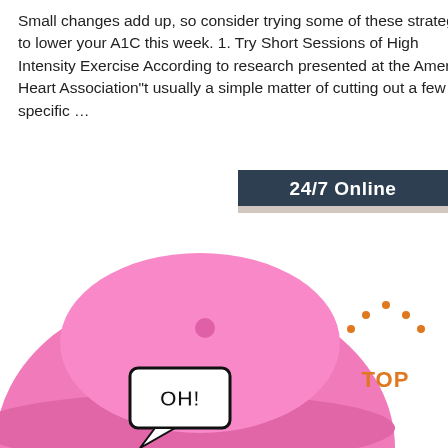Small changes add up, so consider trying some of these strategies to lower your A1C this week. 1. Try Short Sessions of High Intensity Exercise According to research presented at the American Heart Association"t usually a simple matter of cutting out a few specific …
[Figure (other): Orange 'Get Price' button]
[Figure (other): Sidebar advertisement with '24/7 Online' header, photo of a woman with headset, 'Click here for free chat!' text, and orange QUOTATION button on dark navy background]
[Figure (photo): Pink baseball cap with 'OH!' speech bubble patch logo]
[Figure (logo): Orange dotted 'TOP' badge/logo in bottom right]